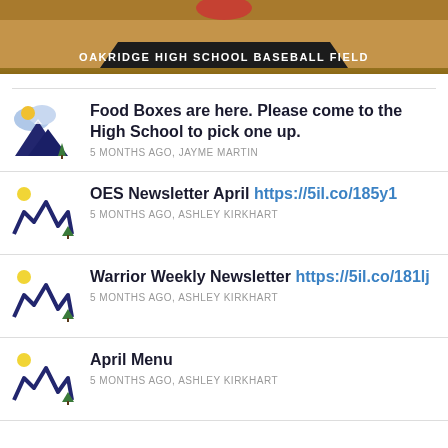[Figure (photo): Top banner showing Oakridge High School Baseball Field with a brown infield background and dark trapezoidal label reading OAKRIDGE HIGH SCHOOL BASEBALL FIELD]
Food Boxes are here. Please come to the High School to pick one up. — 5 MONTHS AGO, JAYME MARTIN
OES Newsletter April https://5il.co/185y1 — 5 MONTHS AGO, ASHLEY KIRKHART
Warrior Weekly Newsletter https://5il.co/181lj — 5 MONTHS AGO, ASHLEY KIRKHART
April Menu — 5 MONTHS AGO, ASHLEY KIRKHART